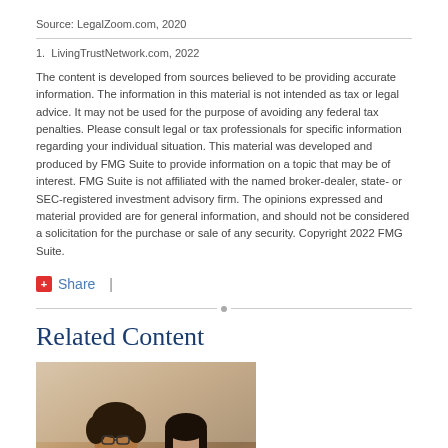Source: LegalZoom.com, 2020
1.  LivingTrustNetwork.com, 2022
The content is developed from sources believed to be providing accurate information. The information in this material is not intended as tax or legal advice. It may not be used for the purpose of avoiding any federal tax penalties. Please consult legal or tax professionals for specific information regarding your individual situation. This material was developed and produced by FMG Suite to provide information on a topic that may be of interest. FMG Suite is not affiliated with the named broker-dealer, state- or SEC-registered investment advisory firm. The opinions expressed and material provided are for general information, and should not be considered a solicitation for the purchase or sale of any security. Copyright 2022 FMG Suite.
Share  |
Related Content
[Figure (photo): Two people looking at something together, one wearing glasses and a tan sweater]